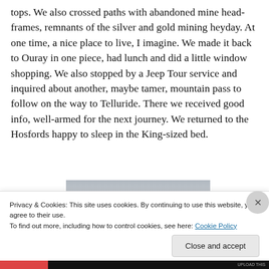tops. We also crossed paths with abandoned mine headframes, remnants of the silver and gold mining heyday. At one time, a nice place to live, I imagine. We made it back to Ouray in one piece, had lunch and did a little window shopping. We also stopped by a Jeep Tour service and inquired about another, maybe tamer, mountain pass to follow on the way to Telluride. There we received good info, well-armed for the next journey. We returned to the Hosfords happy to sleep in the King-sized bed.
[Figure (photo): A grayscale photograph of a mountain landscape, partially visible below the main text block.]
Privacy & Cookies: This site uses cookies. By continuing to use this website, you agree to their use.
To find out more, including how to control cookies, see here: Cookie Policy
Close and accept